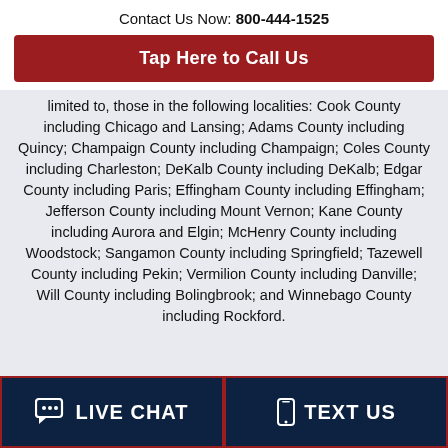Contact Us Now: 800-444-1525
Tap Here to Call Us
limited to, those in the following localities: Cook County including Chicago and Lansing; Adams County including Quincy; Champaign County including Champaign; Coles County including Charleston; DeKalb County including DeKalb; Edgar County including Paris; Effingham County including Effingham; Jefferson County including Mount Vernon; Kane County including Aurora and Elgin; McHenry County including Woodstock; Sangamon County including Springfield; Tazewell County including Pekin; Vermilion County including Danville; Will County including Bolingbrook; and Winnebago County including Rockford.
LIVE CHAT
TEXT US